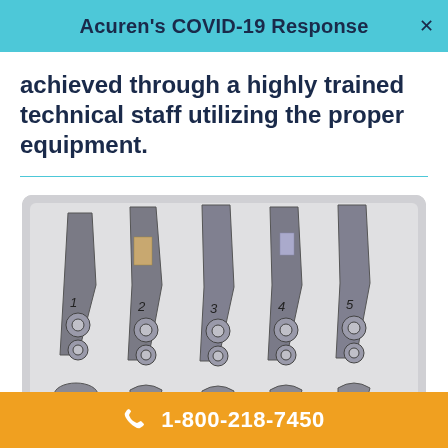Acuren's COVID-19 Response
achieved through a highly trained technical staff utilizing the proper equipment.
[Figure (photo): Five numbered metal blade/chisel specimens (labeled 1-5) arranged in a row on a light background, with smaller curved pieces partially visible at the bottom. The blades appear to be metallurgical test specimens showing wear or failure analysis.]
1-800-218-7450